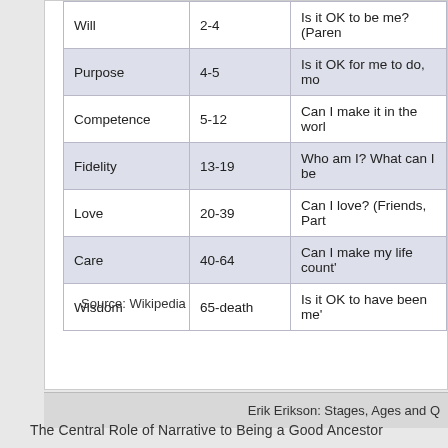|  |  |  |
| --- | --- | --- |
| Will | 2-4 | Is it OK to be me? (Paren… |
| Purpose | 4-5 | Is it OK for me to do, mo… |
| Competence | 5-12 | Can I make it in the worl… |
| Fidelity | 13-19 | Who am I? What can I be… |
| Love | 20-39 | Can I love? (Friends, Part… |
| Care | 40-64 | Can I make my life count'… |
| Wisdom | 65-death | Is it OK to have been me'… |
Source: Wikipedia
Erik Erikson: Stages, Ages and Q…
The Central Role of Narrative to Being a Good Ancestor